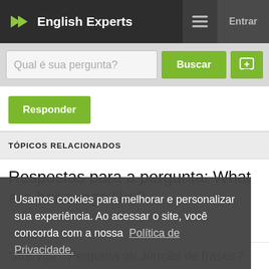English Experts
Qual é sua pergunta?
Responder
TÓPICOS RELACIONADOS
Respostas para a pergunta: What are her songs like?
Usamos cookies para melhorar e personalizar sua experiência. Ao acessar o site, você concorda com a nossa Política de Privacidade.
Eu entendi!
"Are you": Pergunta ou Junção de frases?